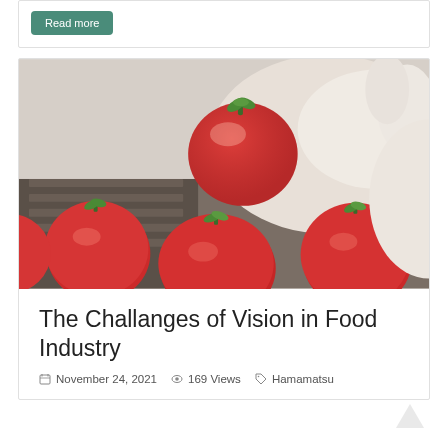Read more
[Figure (photo): Gloved hands holding a red tomato over a conveyor belt of tomatoes in a food processing facility]
The Challanges of Vision in Food Industry
November 24, 2021   169 Views   Hamamatsu